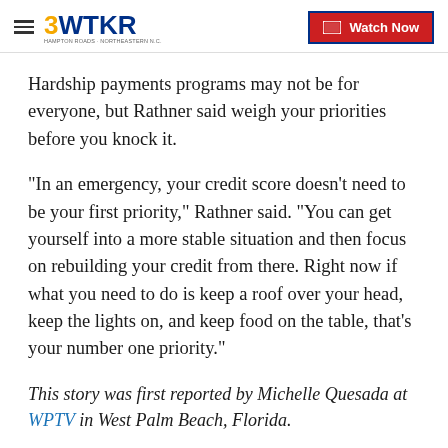3WTKR | Watch Now
Hardship payments programs may not be for everyone, but Rathner said weigh your priorities before you knock it.
"In an emergency, your credit score doesn’t need to be your first priority," Rathner said. "You can get yourself into a more stable situation and then focus on rebuilding your credit from there. Right now if what you need to do is keep a roof over your head, keep the lights on, and keep food on the table, that’s your number one priority."
This story was first reported by Michelle Quesada at WPTV in West Palm Beach, Florida.